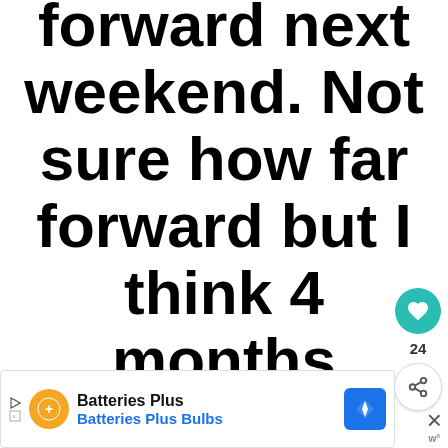forward next weekend. Not sure how far forward but I think 4 months should do.
[Figure (other): Heart/like button (teal circle with heart icon) with count 24, and share button below]
[Figure (other): Advertisement bar: Batteries Plus / Batteries Plus Bulbs with orange logo, blue navigation icon, and close button]